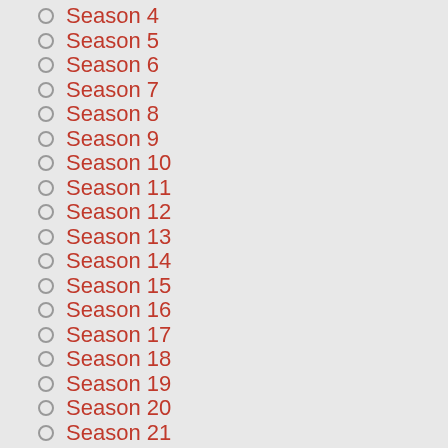Season 4
Season 5
Season 6
Season 7
Season 8
Season 9
Season 10
Season 11
Season 12
Season 13
Season 14
Season 15
Season 16
Season 17
Season 18
Season 19
Season 20
Season 21
Season 22